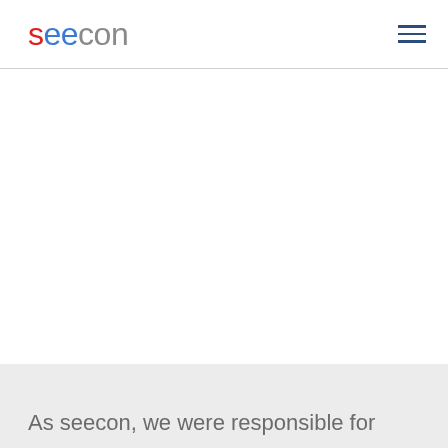seecon
As seecon, we were responsible for